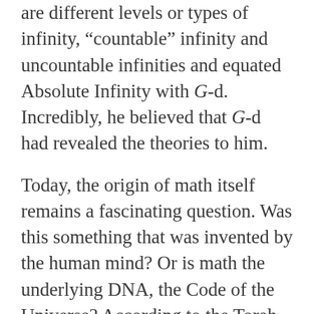are different levels or types of infinity, “countable” infinity and uncountable infinities and equated Absolute Infinity with G-d. Incredibly, he believed that G-d had revealed the theories to him.
Today, the origin of math itself remains a fascinating question. Was this something that was invented by the human mind? Or is math the underlying DNA, the Code of the Universe? According to the Torah, HaShem created the world through Speech, specifically the Hebrew Language. It is well known that each Hebrew letter is a number.